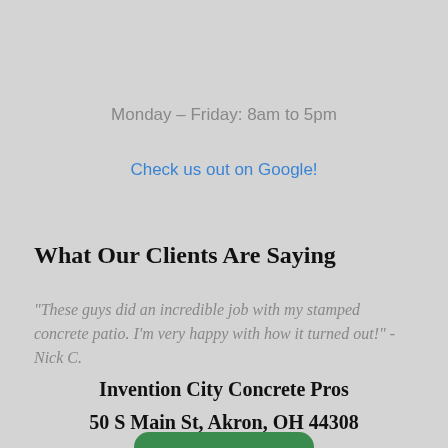Monday – Friday: 8am to 5pm
Check us out on Google!
What Our Clients Are Saying
"These guys did an incredible job with my stamped concrete patio. I'm very happy with how it turned out!" -Nick C.
Invention City Concrete Pros
50 S Main St, Akron, OH 44308